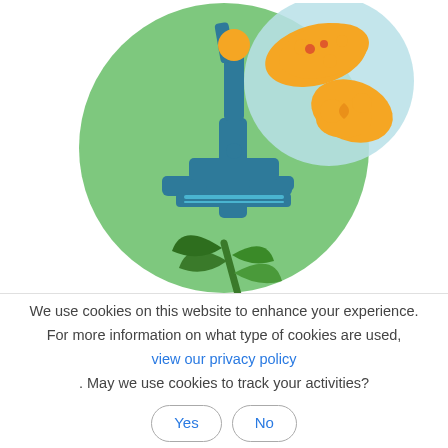[Figure (illustration): Flat-style science illustration: a teal/dark-blue microscope in front of a large green circle background, with a light-blue petri dish circle (top right) containing orange amoeba/organism shapes with red dots, and a dark green plant/leaf motif at the bottom center.]
Th... l... l... c
We use cookies on this website to enhance your experience. For more information on what type of cookies are used, view our privacy policy. May we use cookies to track your activities? Yes  No